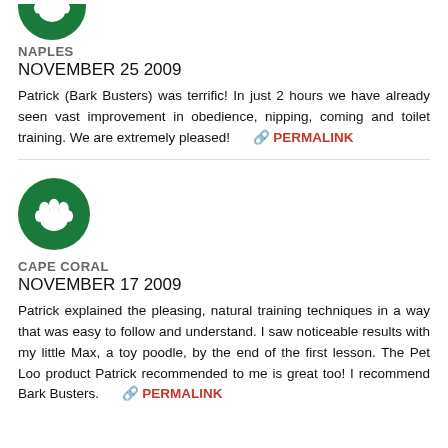[Figure (logo): Green circle with white paw print icon (partially visible, cropped at top)]
NAPLES
NOVEMBER 25 2009
Patrick (Bark Busters) was terrific! In just 2 hours we have already seen vast improvement in obedience, nipping, coming and toilet training. We are extremely pleased!
[Figure (logo): Green circle with white paw print icon]
CAPE CORAL
NOVEMBER 17 2009
Patrick explained the pleasing, natural training techniques in a way that was easy to follow and understand. I saw noticeable results with my little Max, a toy poodle, by the end of the first lesson. The Pet Loo product Patrick recommended to me is great too! I recommend Bark Busters.